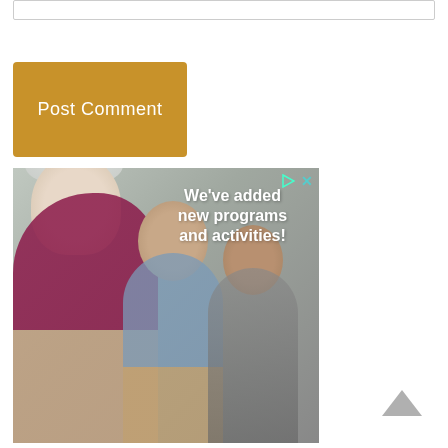[Figure (screenshot): Text input box at top of page (comment form input field)]
[Figure (screenshot): Orange/amber 'Post Comment' button]
[Figure (photo): Advertisement banner showing elderly woman smiling in foreground (magenta top, white hair), two younger people in background. Text overlay reads: 'We've added new programs and activities!' with small ad controls (play and close icons) in top right corner.]
[Figure (other): Back-to-top chevron arrow icon in bottom right corner]